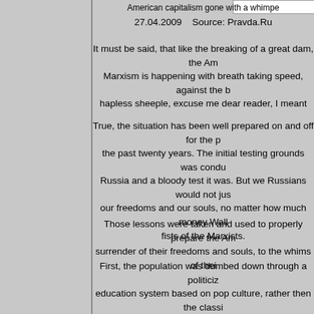American capitalism gone with a whimpe
27.04.2009    Source: Pravda.Ru
It must be said, that like the breaking of a great dam, the Am Marxism is happening with breath taking speed, against the b hapless sheeple, excuse me dear reader, I meant
True, the situation has been well prepared on and off for the p the past twenty years. The initial testing grounds was condu Russia and a bloody test it was. But we Russians would not jus our freedoms and our souls, no matter how much money Wall fists of the Marxists.
Those lessons were taken and used to properly prepare the Am surrender of their freedoms and souls, to the whims of thei
First, the population was dumbed down through a politiciz education system based on pop culture, rather then the classi more about their favorite TV dramas then the drama in DC tha lives. They care more for their "right" to choke down a Mc BurgerKing burger than for their constitutional rights. Then n